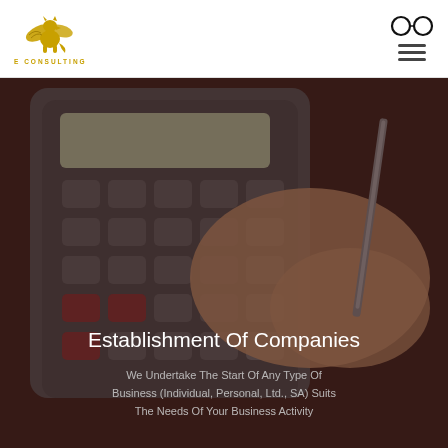[Figure (logo): E Consulting logo with golden griffin/lion-eagle creature and text 'E CONSULTING' in gold letters]
[Figure (other): Glasses icon (two overlapping circles) and hamburger menu icon in top right header]
[Figure (photo): Background photo of a hand pressing calculator buttons on a desk with a pen, dark reddish-brown overlay applied]
Establishment Of Companies
We Undertake The Start Of Any Type Of Business (Individual, Personal, Ltd., SA) Suits The Needs Of Your Business Activity